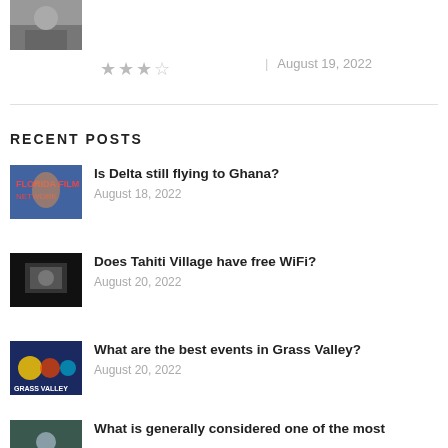[Figure (photo): Thumbnail image at top left showing a person]
★★★☆☆  |  August 19, 2022
RECENT POSTS
[Figure (photo): Thumbnail for 'Is Delta still flying to Ghana?' post]
Is Delta still flying to Ghana?
August 18, 2022
[Figure (photo): Thumbnail for 'Does Tahiti Village have free WiFi?' post]
Does Tahiti Village have free WiFi?
August 20, 2022
[Figure (photo): Thumbnail for 'What are the best events in Grass Valley?' post]
What are the best events in Grass Valley?
August 20, 2022
[Figure (photo): Thumbnail for 'What is generally considered one of the most' post]
What is generally considered one of the most